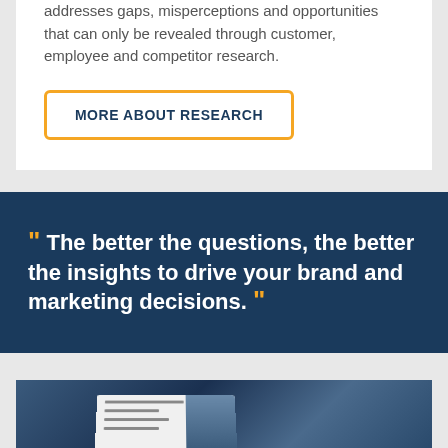addresses gaps, misperceptions and opportunities that can only be revealed through customer, employee and competitor research.
MORE ABOUT RESEARCH
“ The better the questions, the better the insights to drive your brand and marketing decisions. ”
[Figure (photo): Open book/report showing text 'What plans are being lodged and who approves them?' with a building image, photographed against a dark blue background.]